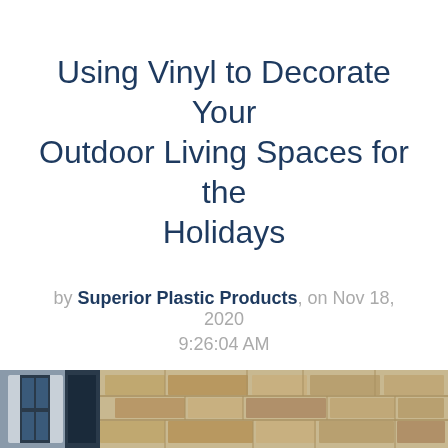Using Vinyl to Decorate Your Outdoor Living Spaces for the Holidays
by Superior Plastic Products, on Nov 18, 2020 9:26:04 AM
[Figure (photo): A horizontal strip of photos showing outdoor living spaces decorated with vinyl, partially visible at the bottom of the page.]